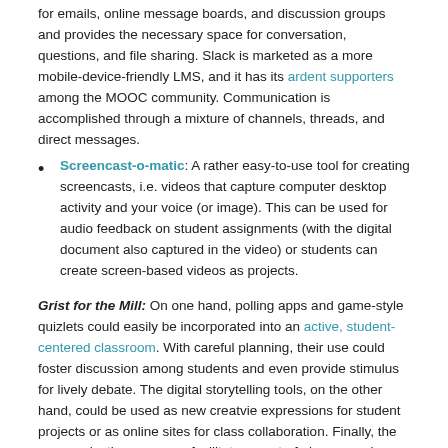for emails, online message boards, and discussion groups and provides the necessary space for conversation, questions, and file sharing. Slack is marketed as a more mobile-device-friendly LMS, and it has its ardent supporters among the MOOC community. Communication is accomplished through a mixture of channels, threads, and direct messages.
Screencast-o-matic: A rather easy-to-use tool for creating screencasts, i.e. videos that capture computer desktop activity and your voice (or image). This can be used for audio feedback on student assignments (with the digital document also captured in the video) or students can create screen-based videos as projects.
Grist for the Mill: On one hand, polling apps and game-style quizlets could easily be incorporated into an active, student-centered classroom. With careful planning, their use could foster discussion among students and even provide stimulus for lively debate. The digital storytelling tools, on the other hand, could be used as new creatvie expressions for student projects or as online sites for class collaboration. Finally, the communication apps can facilitate an out-of-class experience, allowing students and instructors to maintain avenues of contact that exceed the capacities of email or online discussion forums.
Notes: